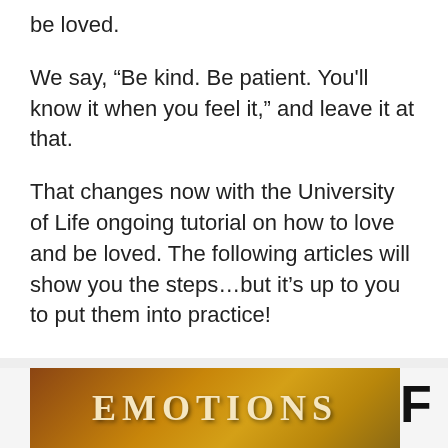be loved.
We say, “Be kind. Be patient. You'll know it when you feel it,” and leave it at that.
That changes now with the University of Life ongoing tutorial on how to love and be loved. The following articles will show you the steps…but it’s up to you to put them into practice!
[Figure (photo): Book cover showing the word EMOTIONS in large serif font on a warm orange-brown gradient background.]
F